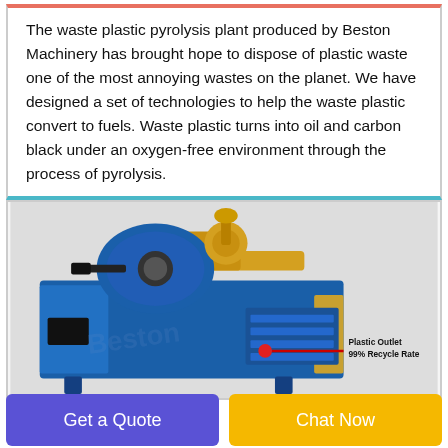The waste plastic pyrolysis plant produced by Beston Machinery has brought hope to dispose of plastic waste one of the most annoying wastes on the planet. We have designed a set of technologies to help the waste plastic convert to fuels. Waste plastic turns into oil and carbon black under an oxygen-free environment through the process of pyrolysis.
[Figure (photo): Industrial waste plastic pyrolysis machine (blue and yellow) with annotation: 'Plastic Outlet 99% Recycle Rate' and a red arrow pointing to the plastic outlet area.]
Get a Quote
Chat Now